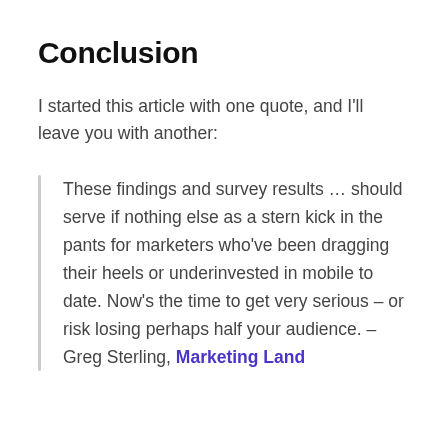Conclusion
I started this article with one quote, and I'll leave you with another:
These findings and survey results … should serve if nothing else as a stern kick in the pants for marketers who've been dragging their heels or underinvested in mobile to date. Now's the time to get very serious – or risk losing perhaps half your audience. – Greg Sterling, Marketing Land